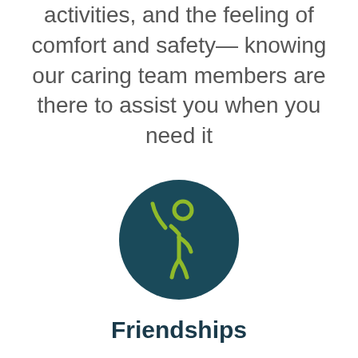activities, and the feeling of comfort and safety— knowing our caring team members are there to assist you when you need it
[Figure (illustration): Dark teal circle with a yellow-green line-art icon of a person raising one hand, representing friendships or assistance]
Friendships